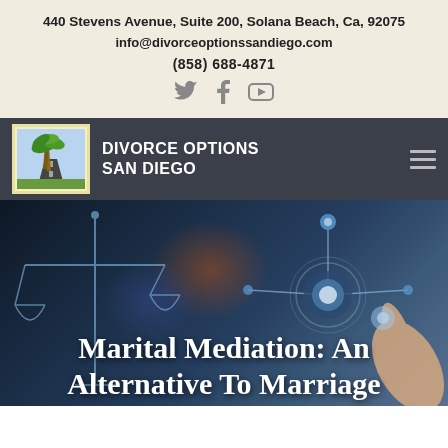440 Stevens Avenue, Suite 200, Solana Beach, Ca, 92075
info@divorceoptionssandiego.com
(858) 688-4871
[Figure (logo): Divorce Options San Diego logo with palm tree graphic and company name]
[Figure (photo): Hero image showing scales of justice silhouette on left, glowing network node diagram on right with a finger pointing at it, dark blue blurred background]
Marital Mediation: An Alternative To Marriage